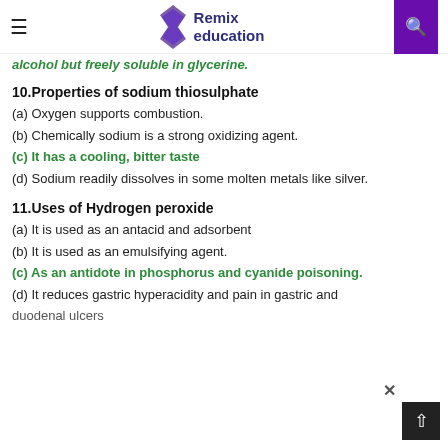Remix education
alcohol but freely soluble in glycerine.
10.Properties of sodium thiosulphate
(a) Oxygen supports combustion.
(b) Chemically sodium is a strong oxidizing agent.
(c) It has a cooling, bitter taste
(d) Sodium readily dissolves in some molten metals like silver.
11.Uses of Hydrogen peroxide
(a) It is used as an antacid and adsorbent
(b) It is used as an emulsifying agent.
(c) As an antidote in phosphorus and cyanide poisoning.
(d) It reduces gastric hyperacidity and pain in gastric and duodenal ulcers